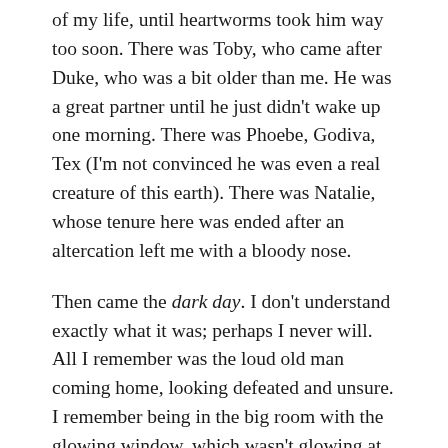of my life, until heartworms took him way too soon. There was Toby, who came after Duke, who was a bit older than me. He was a great partner until he just didn't wake up one morning. There was Phoebe, Godiva, Tex (I'm not convinced he was even a real creature of this earth). There was Natalie, whose tenure here was ended after an altercation left me with a bloody nose.
Then came the dark day. I don't understand exactly what it was; perhaps I never will. All I remember was the loud old man coming home, looking defeated and unsure. I remember being in the big room with the glowing window, which wasn't glowing at that time. I couldn't understand what was going on, but suddenly the whole room fell completely dark, like the Darkness had gotten control of the Humans. I knew there had to be